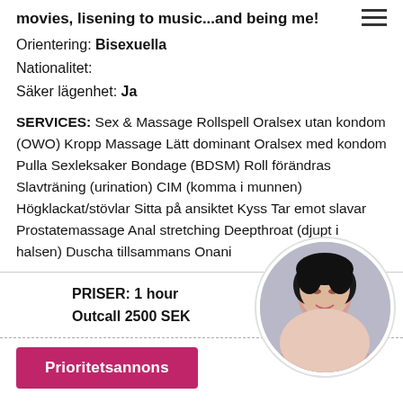movies, lisening to music...and being me!
Orientering: Bisexuella
Nationalitet:
Säker lägenhet: Ja
SERVICES: Sex & Massage Rollspell Oralsex utan kondom (OWO) Kropp Massage Lätt dominant Oralsex med kondom Pulla Sexleksaker Bondage (BDSM) Roll förändras Slavträning (urination) CIM (komma i munnen) Högklackat/stövlar Sitta på ansiktet Kyss Tar emot slavar Prostatemassage Anal stretching Deepthroat (djupt i halsen) Duscha tillsammans Onani
PRISER: 1 hour Outcall 2500 SEK
Incall 2500 SEK
[Figure (photo): Circular profile photo of a woman with dark hair]
Prioritetsannons